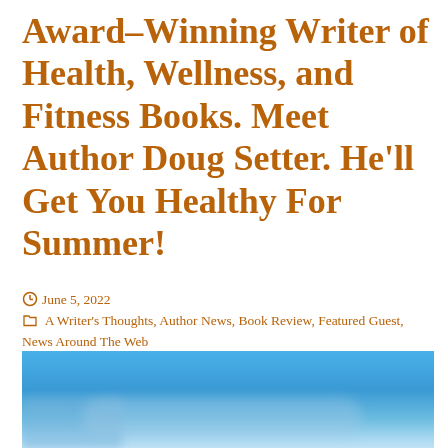Award-Winning Writer of Health, Wellness, and Fitness Books. Meet Author Doug Setter. He'll Get You Healthy For Summer!
June 5, 2022  A Writer's Thoughts, Author News, Book Review, Featured Guest, News Around The Web  Award Winning Author, Books, Fitness Expert, Meet Doug Setter, Personal Fitness Trainer, Wellness Coach
[Figure (photo): Partial photo showing a blue sky with clouds, cropped at bottom of page]